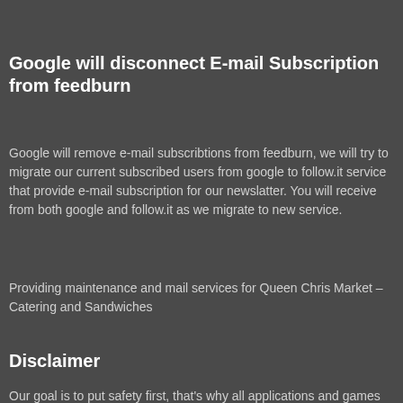Google will disconnect E-mail Subscription from feedburn
Google will remove e-mail subscribtions from feedburn, we will try to migrate our current subscribed users from google to follow.it service that provide e-mail subscription for our newslatter. You will receive from both google and follow.it as we migrate to new service.
Providing maintenance and mail services for Queen Chris Market – Catering and Sandwiches
Disclaimer
Our goal is to put safety first, that's why all applications and games